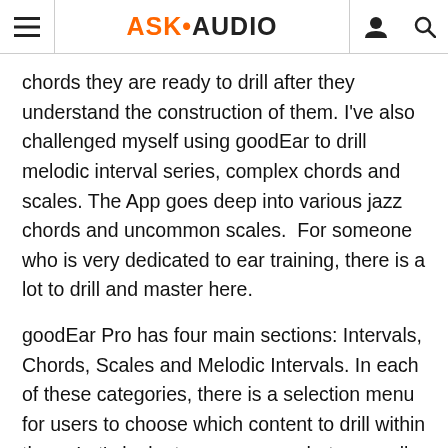ASK•AUDIO
chords they are ready to drill after they understand the construction of them. I've also challenged myself using goodEar to drill melodic interval series, complex chords and scales. The App goes deep into various jazz chords and uncommon scales.  For someone who is very dedicated to ear training, there is a lot to drill and master here.
goodEar Pro has four main sections: Intervals, Chords, Scales and Melodic Intervals. In each of these categories, there is a selection menu for users to choose which content to drill within them. Let's look at some screenshots as well as interface detail to understand the layout better.